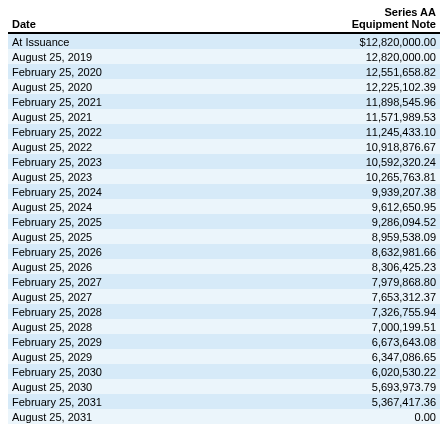| Date | Series AA
Equipment Note |
| --- | --- |
| At Issuance | $12,820,000.00 |
| August 25, 2019 | 12,820,000.00 |
| February 25, 2020 | 12,551,658.82 |
| August 25, 2020 | 12,225,102.39 |
| February 25, 2021 | 11,898,545.96 |
| August 25, 2021 | 11,571,989.53 |
| February 25, 2022 | 11,245,433.10 |
| August 25, 2022 | 10,918,876.67 |
| February 25, 2023 | 10,592,320.24 |
| August 25, 2023 | 10,265,763.81 |
| February 25, 2024 | 9,939,207.38 |
| August 25, 2024 | 9,612,650.95 |
| February 25, 2025 | 9,286,094.52 |
| August 25, 2025 | 8,959,538.09 |
| February 25, 2026 | 8,632,981.66 |
| August 25, 2026 | 8,306,425.23 |
| February 25, 2027 | 7,979,868.80 |
| August 25, 2027 | 7,653,312.37 |
| February 25, 2028 | 7,326,755.94 |
| August 25, 2028 | 7,000,199.51 |
| February 25, 2029 | 6,673,643.08 |
| August 25, 2029 | 6,347,086.65 |
| February 25, 2030 | 6,020,530.22 |
| August 25, 2030 | 5,693,973.79 |
| February 25, 2031 | 5,367,417.36 |
| August 25, 2031 | 0.00 |